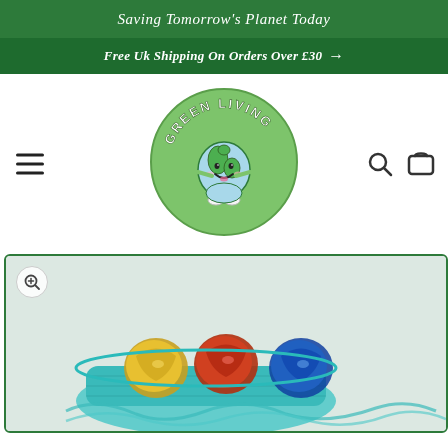Saving Tomorrow's Planet Today
Free Uk Shipping On Orders Over £30 →
[Figure (logo): Green Living logo: round green circle with cartoon smiling Earth character and arched text 'GREEN LIVING']
[Figure (photo): Product photo showing colorful scrubber balls in a turquoise basket, partially visible at bottom of page]